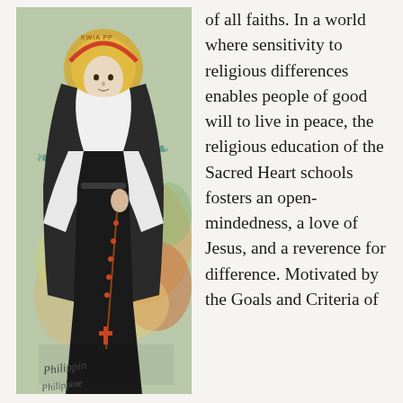[Figure (illustration): Mosaic or painted illustration of a Catholic nun in dark religious habit holding a rosary with a cross, standing with a halo behind her head, fleur-de-lis symbols visible on either side, colorful floral background, with a signature at the bottom.]
of all faiths. In a world where sensitivity to religious differences enables people of good will to live in peace, the religious education of the Sacred Heart schools fosters an open-mindedness, a love of Jesus, and a reverence for difference. Motivated by the Goals and Criteria of